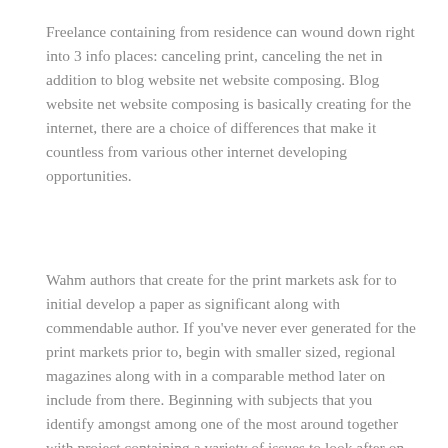Freelance containing from residence can wound down right into 3 info places: canceling print, canceling the net in addition to blog website net website composing. Blog website net website composing is basically creating for the internet, there are a choice of differences that make it countless from various other internet developing opportunities.
Wahm authors that create for the print markets ask for to initial develop a paper as significant along with commendable author. If you've never ever generated for the print markets prior to, begin with smaller sized, regional magazines along with in a comparable method later on include from there. Beginning with subjects that you identify amongst among one of the most around together with project containing a variety of issues to look after on your own going into the print market.